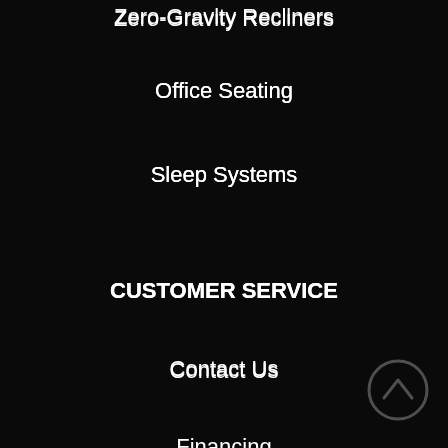Zero-Gravity Recliners
Office Seating
Sleep Systems
CUSTOMER SERVICE
Contact Us
Financing
Learning Center
COMPANY
Media & News
About Us
Locations
Privacy Policy